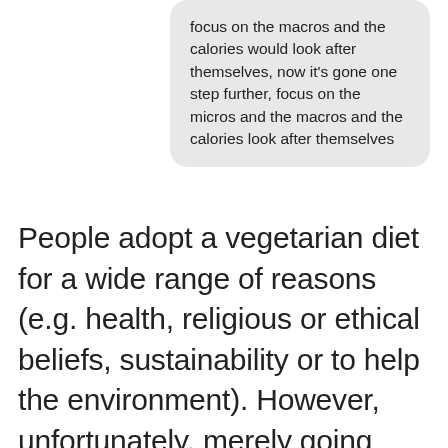focus on the macros and the calories would look after themselves, now it's gone one step further, focus on the micros and the macros and the calories look after themselves
People adopt a vegetarian diet for a wide range of reasons (e.g. health, religious or ethical beliefs, sustainability or to help the environment). However, unfortunately, merely going “vegetarian” does not guarantee that you will improve your nutrition or health. In fact, the majority of processed junk foods are actually “vegetarian”